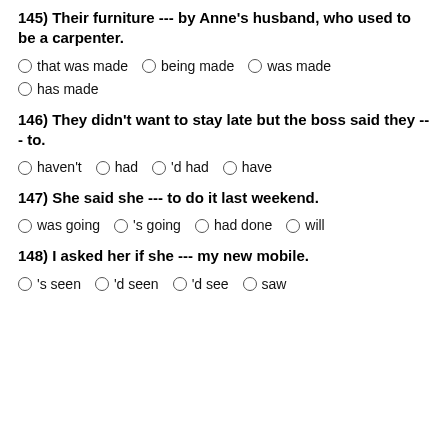145) Their furniture --- by Anne's husband, who used to be a carpenter.
that was made  being made  was made  has made
146) They didn't want to stay late but the boss said they --- to.
haven't  had  'd had  have
147) She said she --- to do it last weekend.
was going  's going  had done  will
148) I asked her if she --- my new mobile.
's seen  'd seen  'd see  saw